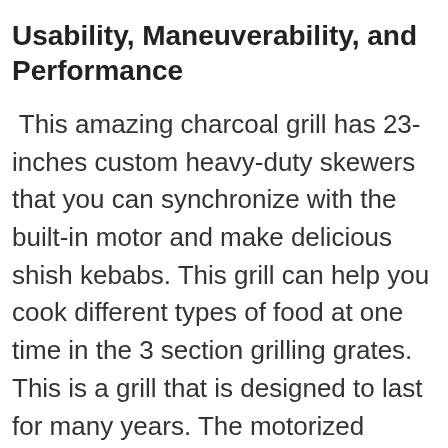Usability, Maneuverability, and Performance
This amazing charcoal grill has 23-inches custom heavy-duty skewers that you can synchronize with the built-in motor and make delicious shish kebabs. This grill can help you cook different types of food at one time in the 3 section grilling grates. This is a grill that is designed to last for many years. The motorized automatic rotisserie allows the skewers to cook well. The best part of this feature is that you can take full advantage of this grill and cook every food perfectly. The adjustable